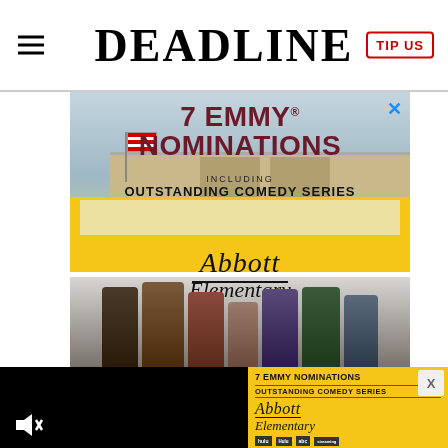DEADLINE
[Figure (screenshot): Abbott Elementary TV show advertisement banner: '7 EMMY NOMINATIONS INCLUDING OUTSTANDING COMEDY SERIES' with cast photo in front of school bus and school building, yellow background on lower half]
[Figure (screenshot): Bottom right advertisement on yellow background: '7 EMMY NOMINATIONS OUTSTANDING COMEDY SERIES' with Abbott Elementary logo]
[Figure (screenshot): Bottom left black video player area with muted speaker icon]